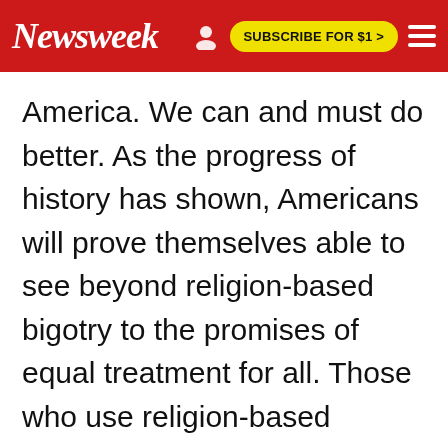Newsweek   SUBSCRIBE FOR $1 >
America. We can and must do better. As the progress of history has shown, Americans will prove themselves able to see beyond religion-based bigotry to the promises of equal treatment for all. Those who use religion-based bigotry to persecute and discriminate against LGBT people are on the wrong side of history, just as they were with slavery, interracial marriage, the treatment of women, and so many other issues.